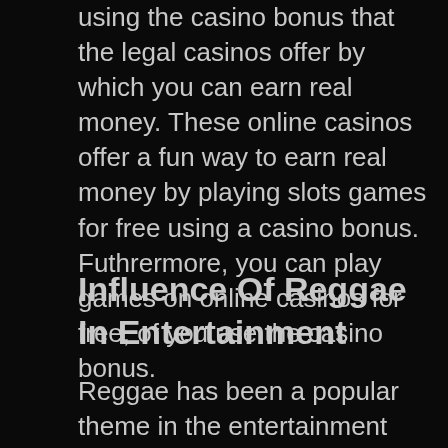using the casino bonus that the legal casinos offer by which you can earn real money. These online casinos offer a fun way to earn real money by playing slots games for free using a casino bonus. Futhrermore, you can play games on online casinos for free, of you use the casino bonus.
Influence Of Reggae In Entertainment
Reggae has been a popular theme in the entertainment industry, be it movies or games or music. Bob Marley is no wonder the most celebrated artists of all times. Let's talk about some famous works related to the